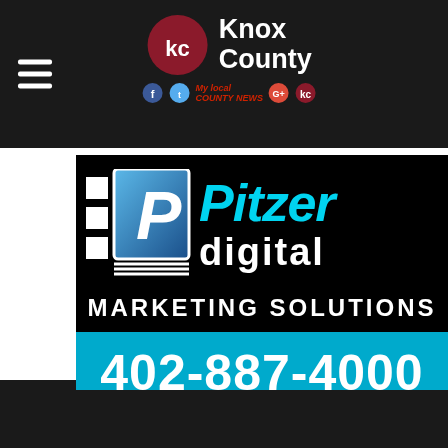Knox County — local news website header with hamburger menu and KC logo
[Figure (logo): Pitzer Digital Marketing Solutions advertisement banner with phone number 402-887-4000]
RSS Feed